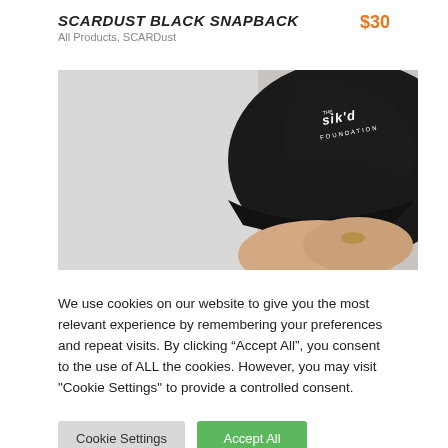SCARDust Black Snapback
All Products, SCARDust
$30
[Figure (photo): A person wearing a black snapback cap with 'The Sik'd Foundation' logo embroidered in white, against a light grey background.]
We use cookies on our website to give you the most relevant experience by remembering your preferences and repeat visits. By clicking “Accept All”, you consent to the use of ALL the cookies. However, you may visit "Cookie Settings" to provide a controlled consent.
Cookie Settings
Accept All